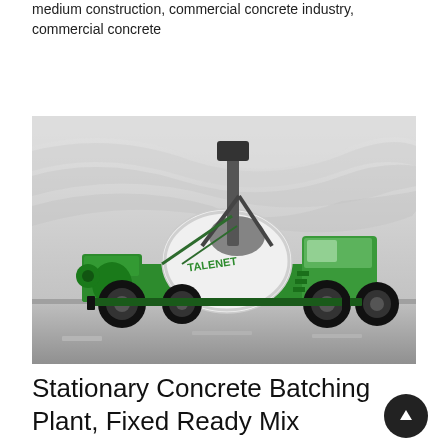medium construction, commercial concrete industry, commercial concrete
Learn More
[Figure (photo): A green TALENET self-loading concrete mixer truck photographed against a modern white architectural building background. The truck is bright green with black wheels, a large rotating drum marked TALENET, and a loading bucket raised at the front.]
Stationary Concrete Batching Plant, Fixed Ready Mix